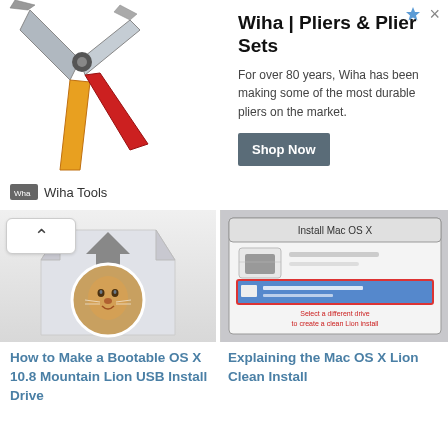[Figure (photo): Wiha pliers advertisement banner with image of pliers on left, bold title 'Wiha | Pliers & Plier Sets', body text 'For over 80 years, Wiha has been making some of the most durable pliers on the market.', Shop Now button, and Wiha Tools branding]
[Figure (screenshot): Thumbnail showing Mac OS X Mountain Lion installer icon with mountain lion face in circle and downward arrow]
[Figure (screenshot): Thumbnail showing Install Mac OS X dialog box with drive selection and 'Select a different drive to create a clean Lion install' text]
How to Make a Bootable OS X 10.8 Mountain Lion USB Install Drive
Explaining the Mac OS X Lion Clean Install
[Figure (illustration): Circular thumbnail showing lion face photo with red arrow pointing right toward green X symbol on grey circle background]
Is Your Mac Still Running OS